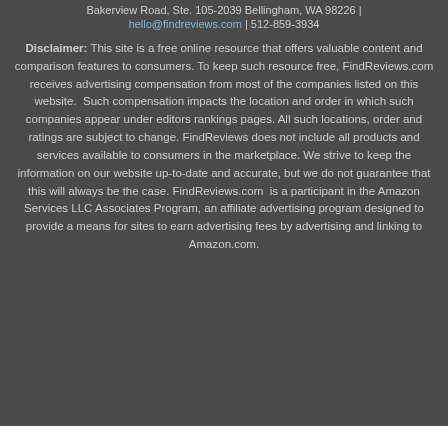Bakerview Road, Ste. 105-2039 Bellingham, WA 98226 | hello@findreviews.com | 512-859-3934
Disclaimer: This site is a free online resource that offers valuable content and comparison features to consumers. To keep such resource free, FindReviews.com receives advertising compensation from most of the companies listed on this website. Such compensation impacts the location and order in which such companies appear under editors rankings pages. All such locations, order and ratings are subject to change. FindReviews does not include all products and services available to consumers in the marketplace. We strive to keep the information on our website up-to-date and accurate, but we do not guarantee that this will always be the case. FindReviews.com is a participant in the Amazon Services LLC Associates Program, an affiliate advertising program designed to provide a means for sites to earn advertising fees by advertising and linking to Amazon.com.